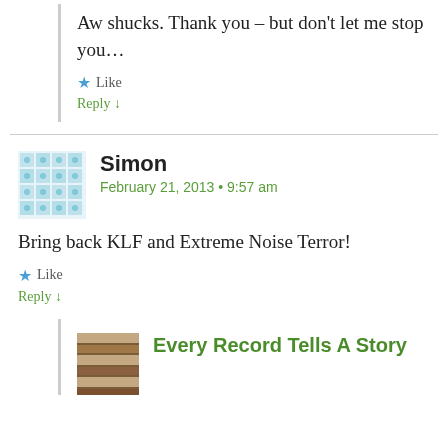Aw shucks. Thank you – but don't let me stop you…
Like
Reply ↓
Simon
February 21, 2013 • 9:57 am
Bring back KLF and Extreme Noise Terror!
Like
Reply ↓
Every Record Tells A Story